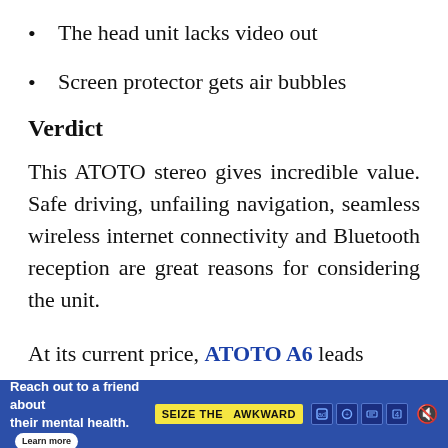The head unit lacks video out
Screen protector gets air bubbles
Verdict
This ATOTO stereo gives incredible value. Safe driving, unfailing navigation, seamless wireless internet connectivity and Bluetooth reception are great reasons for considering the unit.
At its current price, ATOTO A6 leads the [obscured by ad] ...roid
[Figure (screenshot): Advertisement banner: blue background with white text 'Reach out to a friend about their mental health. Learn more' and yellow badge 'SEIZE THE AWKWARD' with icons]